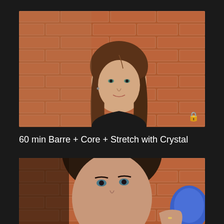[Figure (photo): Portrait of a young woman with long brown hair, wearing a black top, leaning against a red brick wall. A small lock icon is visible in the bottom right corner.]
60 min Barre + Core + Stretch with Crystal
[Figure (photo): Partial portrait of a woman with dark hair against a red brick wall, holding a blue object. Image is cropped at the bottom of the page.]